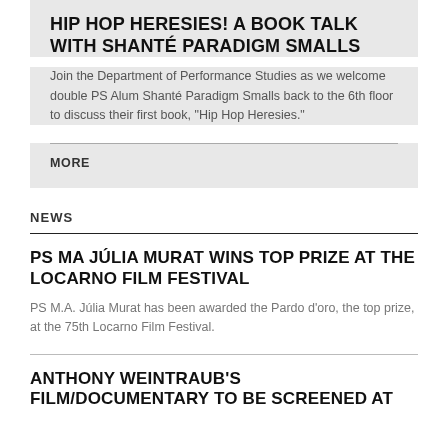HIP HOP HERESIES! A BOOK TALK WITH SHANTÉ PARADIGM SMALLS
Join the Department of Performance Studies as we welcome double PS Alum Shanté Paradigm Smalls back to the 6th floor to discuss their first book, "Hip Hop Heresies."
MORE
NEWS
PS MA JÚLIA MURAT WINS TOP PRIZE AT THE LOCARNO FILM FESTIVAL
PS M.A. Júlia Murat has been awarded the Pardo d'oro, the top prize, at the 75th Locarno Film Festival.
ANTHONY WEINTRAUB'S